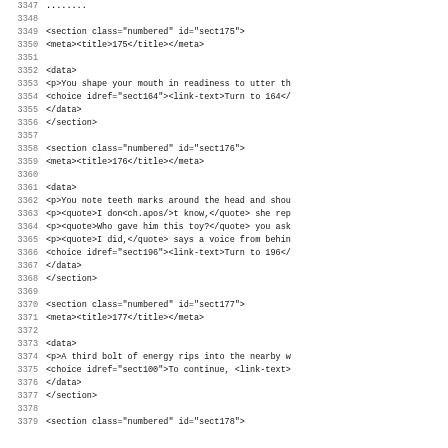Code listing lines 3347-3379 showing XML sections 175, 176, 177, 178
3347 (partial line visible at top)
3348
3349   <section class="numbered" id="sect175">
3350    <meta><title>175</title></meta>
3351
3352    <data>
3353      <p>You shape your mouth in readiness to utter th
3354      <choice idref="sect164"><link-text>Turn to 164</
3355    </data>
3356    </section>
3357
3358    <section class="numbered" id="sect176">
3359     <meta><title>176</title></meta>
3360
3361    <data>
3362      <p>You note teeth marks around the head and shou
3363      <p><quote>I don<ch.apos/>t know,</quote> she rep
3364      <p><quote>Who gave him this toy?</quote> you ask
3365      <p><quote>I did,</quote> says a voice from behin
3366      <choice idref="sect196"><link-text>Turn to 196</
3367    </data>
3368    </section>
3369
3370    <section class="numbered" id="sect177">
3371     <meta><title>177</title></meta>
3372
3373    <data>
3374      <p>A third bolt of energy rips into the nearby w
3375      <choice idref="sect100">To continue, <link-text>
3376    </data>
3377    </section>
3378
3379    <section class="numbered" id="sect178">